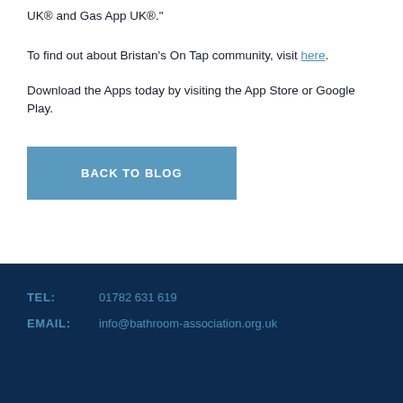UK® and Gas App UK®."
To find out about Bristan's On Tap community, visit here.
Download the Apps today by visiting the App Store or Google Play.
BACK TO BLOG
TEL: 01782 631 619
EMAIL: info@bathroom-association.org.uk